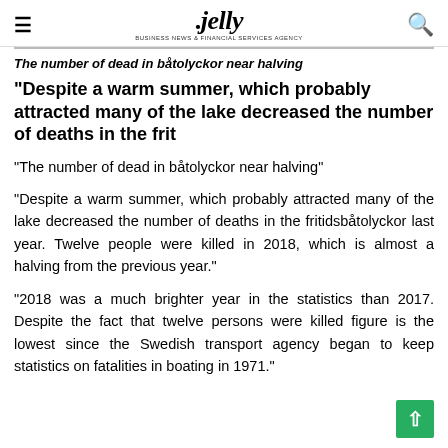≡  .jelly  🔍
The number of dead in båtolyckor near halving
"Despite a warm summer, which probably attracted many of the lake decreased the number of deaths in the frit
"The number of dead in båtolyckor near halving"
"Despite a warm summer, which probably attracted many of the lake decreased the number of deaths in the fritidsbåtolyckor last year. Twelve people were killed in 2018, which is almost a halving from the previous year."
"2018 was a much brighter year in the statistics than 2017. Despite the fact that twelve persons were killed figure is the lowest since the Swedish transport agency began to keep statistics on fatalities in boating in 1971."